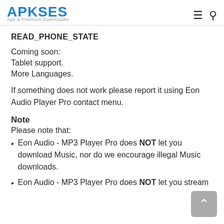APKSES Apk & Premium Downloader
READ_PHONE_STATE
Coming soon:
Tablet support.
More Languages.
If something does not work please report it using Eon Audio Player Pro contact menu.
Note
Please note that:
Eon Audio - MP3 Player Pro does NOT let you download Music, nor do we encourage illegal Music downloads.
Eon Audio - MP3 Player Pro does NOT let you stream